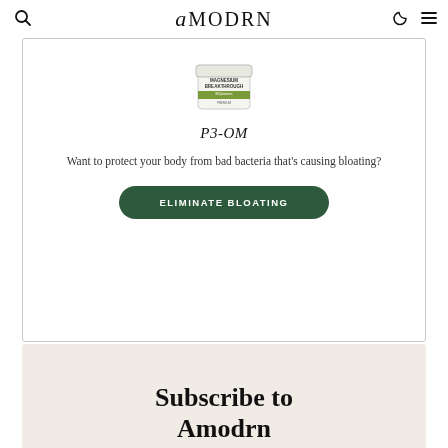amodrn
[Figure (photo): Magnesium Breakthrough supplement jar product image]
P3-OM
Want to protect your body from bad bacteria that's causing bloating?
ELIMINATE BLOATING
Subscribe to Amodrn